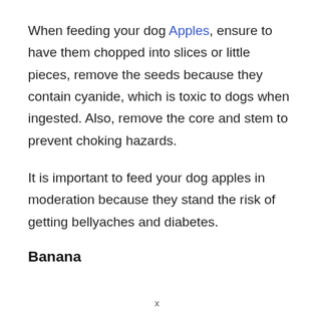When feeding your dog Apples, ensure to have them chopped into slices or little pieces, remove the seeds because they contain cyanide, which is toxic to dogs when ingested. Also, remove the core and stem to prevent choking hazards.
It is important to feed your dog apples in moderation because they stand the risk of getting bellyaches and diabetes.
Banana
x